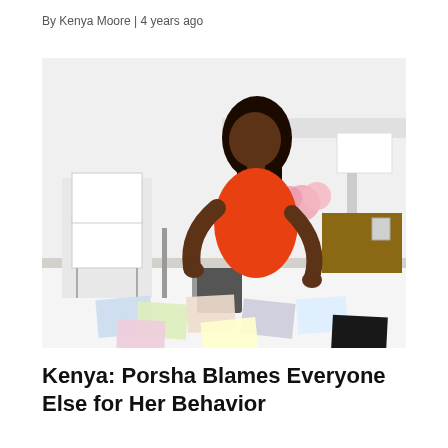By Kenya Moore | 4 years ago
[Figure (photo): A woman with long dark hair wearing a bright orange dress sits on a white bed looking down at photographs spread across the bed. The room is modern and bright white with a chair and table in the background.]
Kenya: Porsha Blames Everyone Else for Her Behavior